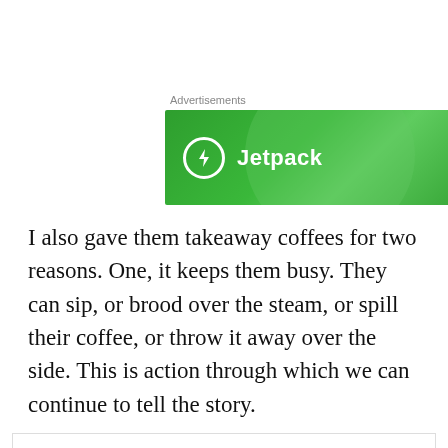Advertisements
[Figure (logo): Jetpack advertisement banner — green background with circular gradient, Jetpack logo (lightning bolt in circle) and text 'Jetpack']
I also gave them takeaway coffees for two reasons. One, it keeps them busy. They can sip, or brood over the steam, or spill their coffee, or throw it away over the side. This is action through which we can continue to tell the story.
Privacy & Cookies: This site uses cookies. By continuing to use this website, you agree to their use.
To find out more, including how to control cookies, see here: Cookie Policy
Close and accept